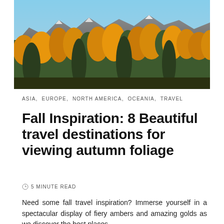[Figure (photo): Autumn forest scene with golden and orange larch trees on a mountainside, with rocky peaks visible in the background under a blue sky.]
ASIA,  EUROPE,  NORTH AMERICA,  OCEANIA,  TRAVEL
Fall Inspiration: 8 Beautiful travel destinations for viewing autumn foliage
5 MINUTE READ
Need some fall travel inspiration? Immerse yourself in a spectacular display of fiery ambers and amazing golds as we discover the best places